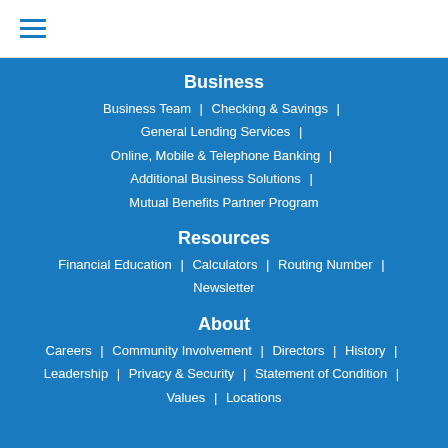≡ (hamburger menu icon)
Business
Business Team | Checking & Savings | General Lending Services | Online, Mobile & Telephone Banking | Additional Business Solutions | Mutual Benefits Partner Program
Resources
Financial Education | Calculators | Routing Number | Newsletter
About
Careers | Community Involvement | Directors | History | Leadership | Privacy & Security | Statement of Condition | Values | Locations